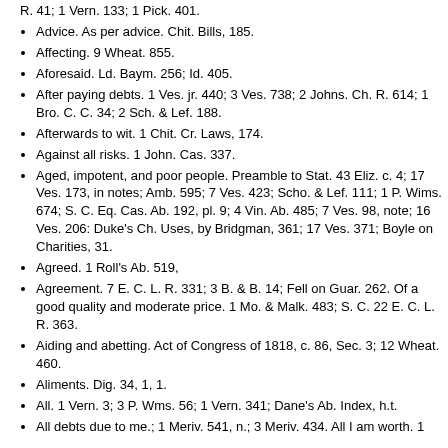R. 41; 1 Vern. 133; 1 Pick. 401.
Advice. As per advice. Chit. Bills, 185.
Affecting. 9 Wheat. 855.
Aforesaid. Ld. Baym. 256; Id. 405.
After paying debts. 1 Ves. jr. 440; 3 Ves. 738; 2 Johns. Ch. R. 614; 1 Bro. C. C. 34; 2 Sch. & Lef. 188.
Afterwards to wit. 1 Chit. Cr. Laws, 174.
Against all risks. 1 John. Cas. 337.
Aged, impotent, and poor people. Preamble to Stat. 43 Eliz. c. 4; 17 Ves. 173, in notes; Amb. 595; 7 Ves. 423; Scho. & Lef. 111; 1 P. Wims. 674; S. C. Eq. Cas. Ab. 192, pl. 9; 4 Vin. Ab. 485; 7 Ves. 98, note; 16 Ves. 206: Duke's Ch. Uses, by Bridgman, 361; 17 Ves. 371; Boyle on Charities, 31.
Agreed. 1 Roll's Ab. 519,
Agreement. 7 E. C. L. R. 331; 3 B. & B. 14; Fell on Guar. 262. Of a good quality and moderate price. 1 Mo. & Malk. 483; S. C. 22 E. C. L. R. 363.
Aiding and abetting. Act of Congress of 1818, c. 86, Sec. 3; 12 Wheat. 460.
Aliments. Dig. 34, 1, 1.
All. 1 Vern. 3; 3 P. Wms. 56; 1 Vern. 341; Dane's Ab. Index, h.t.
All debts due to me.; 1 Meriv. 541, n.; 3 Meriv. 434. All I am worth. 1